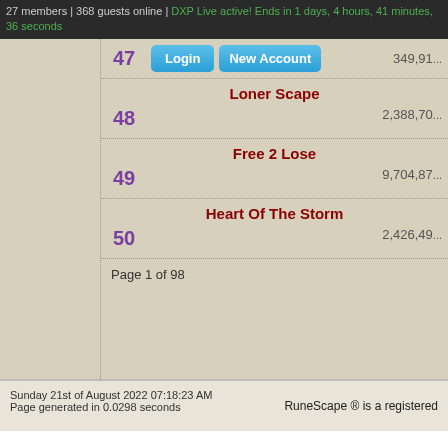27 members | 368 guests online | DXP Live active! Ends in 1 days, 4 hours, 41 minutes, 36 seconds
47
Login   New Account   349,91...
Loner Scape
48   2,388,70...
Free 2 Lose
49   9,704,87...
Heart Of The Storm
50   2,426,49...
Page 1 of 98
Sunday 21st of August 2022 07:18:23 AM
Page generated in 0.0298 seconds
RuneScape ® is a registered
RuneScape ® is a registered